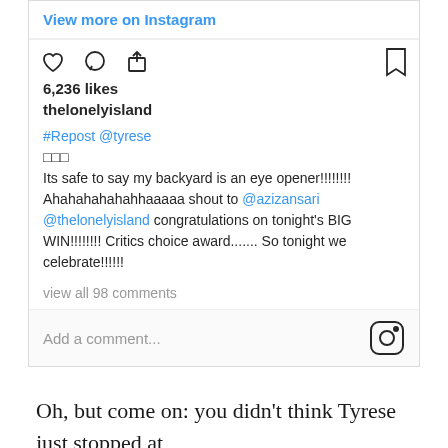View more on Instagram
6,236 likes
thelonelyisland
#Repost @tyrese
□□□
Its safe to say my backyard is an eye opener!!!!!!!! Ahahahahahahhaaaaa shout to @azizansari @thelonelyisland congratulations on tonight's BIG WIN!!!!!!!! Critics choice award....... So tonight we celebrate!!!!!!
view all 98 comments
Add a comment...
Oh, but come on: you didn't think Tyrese just stopped at